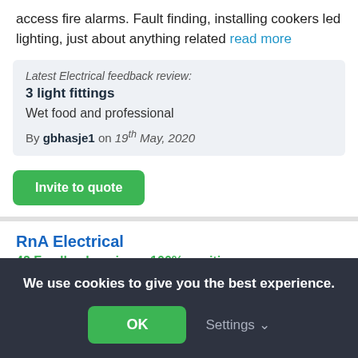access fire alarms. Fault finding, installing cookers led lighting, just about anything related read more
Latest Electrical feedback review: 3 light fittings
Wet food and professional
By gbhasje1 on 19th May, 2020
Invite to quote
RnA Electrical
42 Feedback reviews, 100% positive
We use cookies to give you the best experience.
OK
Settings